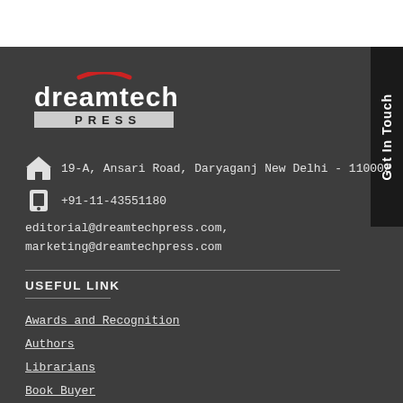[Figure (logo): Dreamtech Press logo with red arc and text]
19-A, Ansari Road, Daryaganj New Delhi - 110002
+91-11-43551180
editorial@dreamtechpress.com, marketing@dreamtechpress.com
USEFUL LINK
Awards and Recognition
Authors
Librarians
Book Buyer
Strategic Alliances